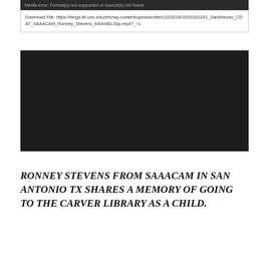Media error: Format(s) not supported or source(s) not found
Download File: https://blogs.lib.unc.edu/shc/wp-content/uploads/sites/10/2018/10/20181031_SanAntonio_CDAT_SAAACAM_Ronney_Stevens_640x480-30p.mp4?_=1
[Figure (other): Black video player area]
RONNEY STEVENS FROM SAAACAM IN SAN ANTONIO TX SHARES A MEMORY OF GOING TO THE CARVER LIBRARY AS A CHILD.